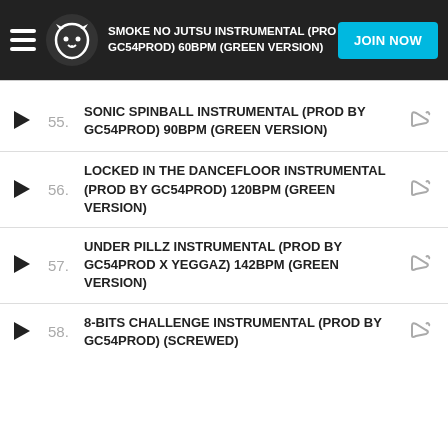SMOKE NO JUTSU INSTRUMENTAL (PROD BY GC54PROD) 60BPM (GREEN VERSION)
55. SONIC SPINBALL INSTRUMENTAL (PROD BY GC54PROD) 90BPM (GREEN VERSION)
56. LOCKED IN THE DANCEFLOOR INSTRUMENTAL (PROD BY GC54PROD) 120BPM (GREEN VERSION)
57. UNDER PILLZ INSTRUMENTAL (PROD BY GC54PROD X YEGGAZ) 142BPM (GREEN VERSION)
58. 8-BITS CHALLENGE INSTRUMENTAL (PROD BY GC54PROD) (SCREWED)